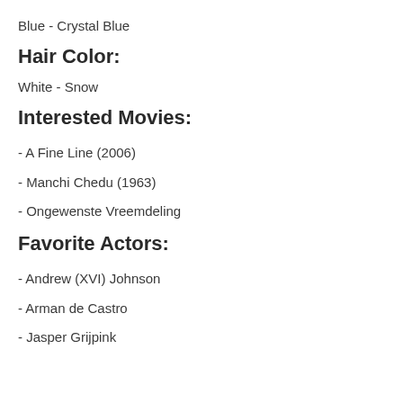Blue - Crystal Blue
Hair Color:
White - Snow
Interested Movies:
- A Fine Line (2006)
- Manchi Chedu (1963)
- Ongewenste Vreemdeling
Favorite Actors:
- Andrew (XVI) Johnson
- Arman de Castro
- Jasper Grijpink